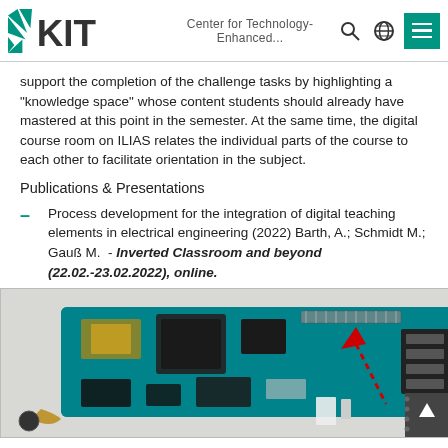KIT — Center for Technology-Enhanced...
support the completion of the challenge tasks by highlighting a "knowledge space" whose content students should already have mastered at this point in the semester. At the same time, the digital course room on ILIAS relates the individual parts of the course to each other to facilitate orientation in the subject.
Publications & Presentations
Process development for the integration of digital teaching elements in electrical engineering (2022) Barth, A.; Schmidt M.; Gauß M.  - Inverted Classroom and beyond (22.02.-23.02.2022), online.
[Figure (photo): Photo of a disassembled smartphone circuit board (PCB) with components spread out, a red dotted arrow pointing to a component, and a dark connector piece shown separately on the right side.]